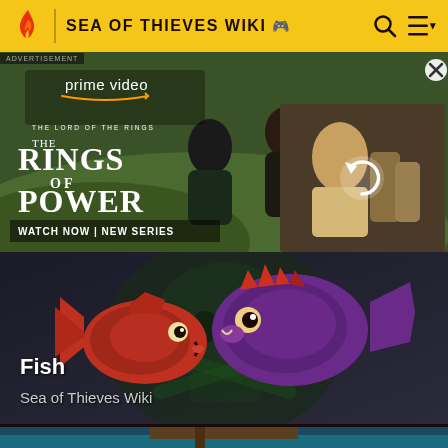SEA OF THIEVES WIKI
[Figure (screenshot): Advertisement for Amazon Prime Video - The Lord of the Rings: The Rings of Power. Shows two characters in a field, with text 'prime video', 'THE LORD OF THE RINGS', 'THE RINGS OF POWER', 'WATCH NOW | NEW SERIES'. A second image panel shows a blonde woman with a refresh/reload icon overlay.]
[Figure (screenshot): Sea of Thieves Wiki fish card showing two animated fish - a red fish and a purple fish - against a dark background with a skull and crossbones emblem. Text reads 'Fish' and 'Sea of Thieves Wiki'.]
Fish
Sea of Thieves Wiki
[Figure (screenshot): Sea of Thieves game screenshot showing a ship's deck with ropes and a wooden mast structure, overlooking turquoise ocean water and distant cliffs under a cloudy sky.]